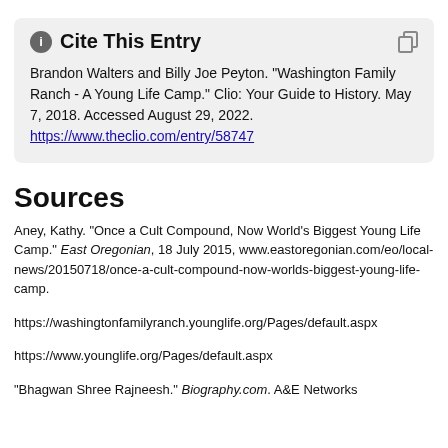Cite This Entry
Brandon Walters and Billy Joe Peyton. "Washington Family Ranch - A Young Life Camp." Clio: Your Guide to History. May 7, 2018. Accessed August 29, 2022. https://www.theclio.com/entry/58747
Sources
Aney, Kathy. "Once a Cult Compound, Now World's Biggest Young Life Camp." East Oregonian, 18 July 2015, www.eastoregonian.com/eo/local-news/20150718/once-a-cult-compound-now-worlds-biggest-young-life-camp.
https://washingtonfamilyranch.younglife.org/Pages/default.aspx
https://www.younglife.org/Pages/default.aspx
"Bhagwan Shree Rajneesh." Biography.com. A&E Networks